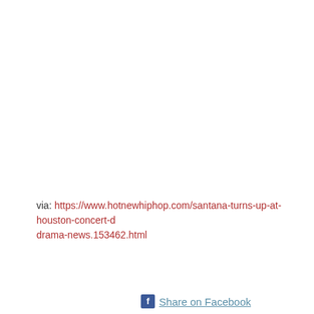via: https://www.hotnewhiphop.com/santana-turns-up-at-houston-concert-drama-news.153462.html
Share on Facebook
ARTICLE, SANTANA TURNS UP AT HOUSTON CONCERT DESPITE BEYONCE &
COMMENTS